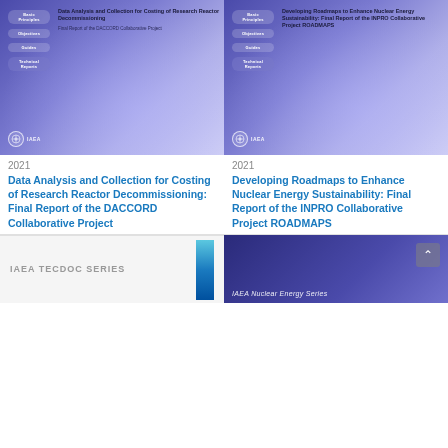[Figure (illustration): IAEA book cover: Data Analysis and Collection for Costing of Research Reactor Decommissioning, Final Report of the DACCORD Collaborative Project. Purple gradient background with tabs on left and IAEA logo at bottom.]
[Figure (illustration): IAEA book cover: Developing Roadmaps to Enhance Nuclear Energy Sustainability: Final Report of the INPRO Collaborative Project ROADMAPS. Purple gradient background with tabs on left and IAEA logo at bottom.]
2021
2021
Data Analysis and Collection for Costing of Research Reactor Decommissioning: Final Report of the DACCORD Collaborative Project
Developing Roadmaps to Enhance Nuclear Energy Sustainability: Final Report of the INPRO Collaborative Project ROADMAPS
[Figure (illustration): Partial IAEA TECDOC Series book cover showing the series label and a cyan/blue striped spine element.]
[Figure (illustration): Partial IAEA Nuclear Energy Series book cover showing dark purple/blue background with series label and a scroll-to-top button.]